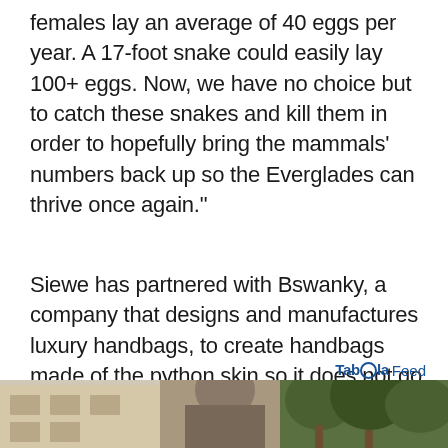females lay an average of 40 eggs per year. A 17-foot snake could easily lay 100+ eggs. Now, we have no choice but to catch these snakes and kill them in order to hopefully bring the mammals' numbers back up so the Everglades can thrive once again."
Siewe has partnered with Bswanky, a company that designs and manufactures luxury handbags, to create handbags made of the python skin so it does not go to waste. Bswanky also donates a portion of the proceeds to the South Florida National Parks Trust in a give-back program to the South Florida National Parks.
Taboola Feed
[Figure (photo): Bottom strip showing a partial outdoor photo with building and trees visible]